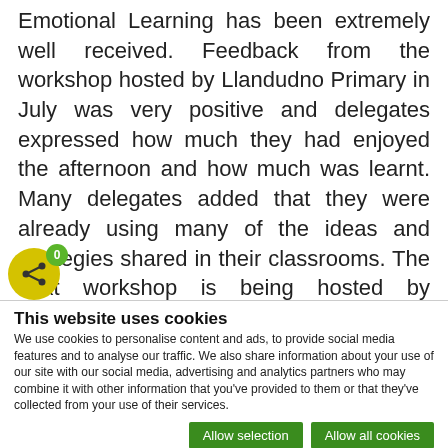Emotional Learning has been extremely well received. Feedback from the workshop hosted by Llandudno Primary in July was very positive and delegates expressed how much they had enjoyed the afternoon and how much was learnt. Many delegates added that they were already using many of the ideas and strategies shared in their classrooms. The next workshop is being hosted by Cannons Creek Primary School in Pinelands, Cape Town, on 26 August from 13h00 to 16h30. There are a handful of spaces still available, please email nel@e-classroom.co.za if you would like to attend
This website uses cookies
We use cookies to personalise content and ads, to provide social media features and to analyse our traffic. We also share information about your use of our site with our social media, advertising and analytics partners who may combine it with other information that you've provided to them or that they've collected from your use of their services.
Allow selection | Allow all cookies
Necessary   Preferences   Statistics   Show detail